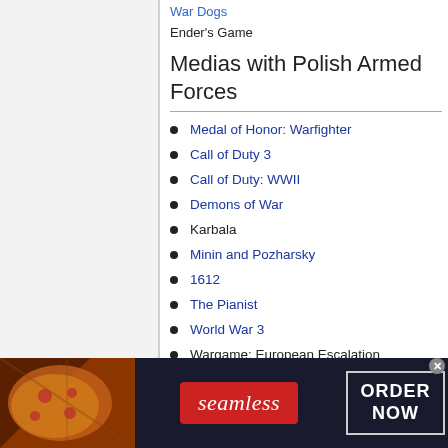War Dogs
Ender's Game
Medias with Polish Armed Forces
Medal of Honor: Warfighter
Call of Duty 3
Call of Duty: WWII
Demons of War
Karbala
Minin and Pozharsky
1612
The Pianist
World War 3
Wargame: European Escalation
[Figure (screenshot): Seamless food delivery advertisement banner with pizza image, Seamless logo in red, and ORDER NOW call-to-action button]